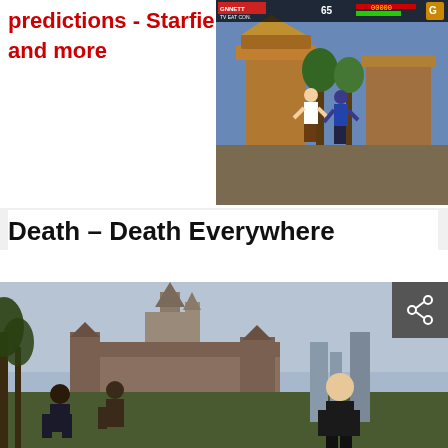predictions - Starfield, W and more
[Figure (screenshot): Retro fighting game screenshot with two characters fighting, HUD showing player info, score 65, set against a Chinese temple background]
Advertisement
Death – Death Everywhere
[Figure (screenshot): Fantasy RPG game screenshot showing a bald character in dark clothing looking towards a medieval castle/cathedral with other characters in foreground, misty atmospheric scene]